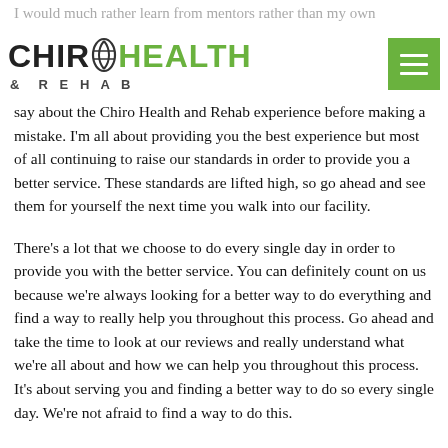I would much rather learn from mentors rather than my own costly. So let's go ahead and make sure you learn from others what they have to say about the Chiro Health and Rehab experience before making a mistake.
[Figure (logo): Chiro Health & Rehab logo with circular spine icon and green menu button]
say about the Chiro Health and Rehab experience before making a mistake. I'm all about providing you the best experience but most of all continuing to raise our standards in order to provide you a better service. These standards are lifted high, so go ahead and see them for yourself the next time you walk into our facility.
There's a lot that we choose to do every single day in order to provide you with the better service. You can definitely count on us because we're always looking for a better way to do everything and find a way to really help you throughout this process. Go ahead and take the time to look at our reviews and really understand what we're all about and how we can help you throughout this process. It's about serving you and finding a better way to do so every single day. We're not afraid to find a way to do this.
Chiro Health and Rehab is always looking to improve their process and help you more. But none of this will be done in any way unless we build relationships with our patients. So go ahead and take the time to know us and let us help you through the experience that...